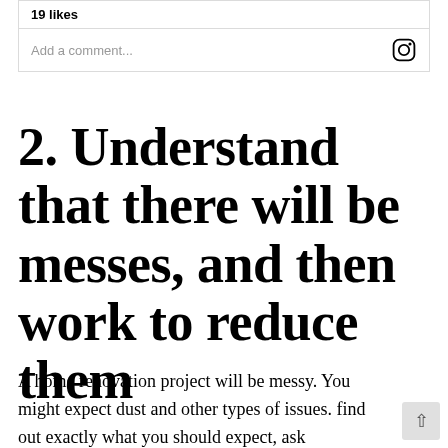[Figure (screenshot): Instagram UI showing 19 likes and an 'Add a comment...' input field with Instagram icon]
2. Understand that there will be messes, and then work to reduce them
A home renovation project will be messy. You might expect dust and other types of issues. find out exactly what you should expect, ask